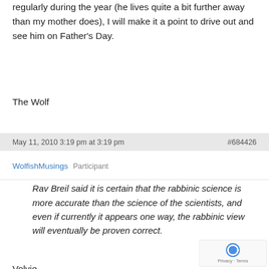regularly during the year (he lives quite a bit further away than my mother does), I will make it a point to drive out and see him on Father's Day.
The Wolf
May 11, 2010 3:19 pm at 3:19 pm
#684426
WolfishMusings   Participant
Rav Breil said it is certain that the rabbinic science is more accurate than the science of the scientists, and even if currently it appears one way, the rabbinic view will eventually be proven correct.
Volvie,
I'm curious how you reconcile this with areas whe *know* Chazal to have been wrong. The prime